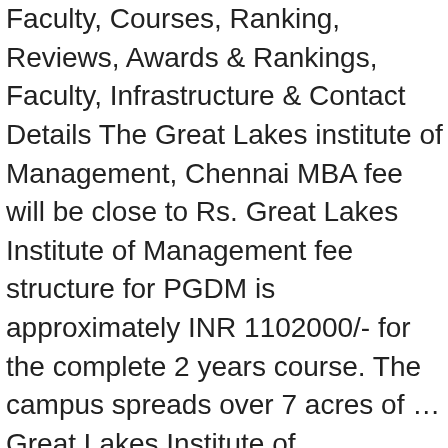Faculty, Courses, Ranking, Reviews, Awards & Rankings, Faculty, Infrastructure & Contact Details The Great Lakes institute of Management, Chennai MBA fee will be close to Rs. Great Lakes Institute of Management fee structure for PGDM is approximately INR 1102000/- for the complete 2 years course. The campus spreads over 7 acres of … Great Lakes Institute of Management, a haven for healthy learning, is South Asia's first LEED Platinum campus. Data Science Certification from Great Lakes Institute of Management – Admission Fee 2019. Great Lakes Institute of Management Hostel fee is approximately INR 124000/- for one year. Yes, Loans are needed. Great Lakes Institute of Management mess facilities are been provided at the cost of INR 54000/- per year. SMS / Email Colleges in Kancheepuram Jobs in College. Hostel Review by Student: very good facilities providing. Great lakes Gurgaon Hostel fee per year costs approx. Great lakes Gurgaon Hostel fee structure (Twin sharing) costs Rs 2,48,000 for 2 years. GIM Goa Placements GIM Goa has a consistent